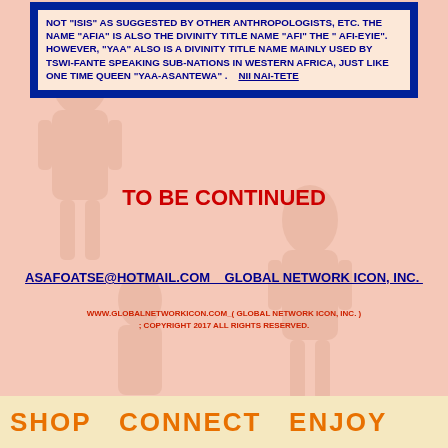NOT "ISIS" AS SUGGESTED BY OTHER ANTHROPOLOGISTS, ETC. THE NAME "AFIA" IS ALSO THE DIVINITY TITLE NAME "AFI" THE " AFI-EYIE". HOWEVER, "YAA" ALSO IS A DIVINITY TITLE NAME MAINLY USED BY TSWI-FANTE SPEAKING SUB-NATIONS IN WESTERN AFRICA, JUST LIKE ONE TIME QUEEN "YAA-ASANTEWA" .    NII NAI-TETE
TO BE CONTINUED
Asafoatse@HOTMAIL.COM    GLOBAL NETWORK ICON, INC.
WWW.GLOBALNETWORKICON.COM_( GLOBAL NETWORK ICON, INC. ) ; COPYRIGHT 2017 ALL RIGHTS RESERVED.
SHOP   CONNECT   ENJOY